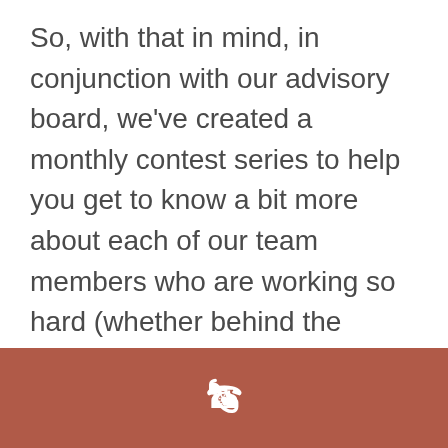So, with that in mind, in conjunction with our advisory board, we've created a monthly contest series to help you get to know a bit more about each of our team members who are working so hard (whether behind the scenes or on the front line) to help you reach your goals.
This month, we would like to further introduce you to our Associate Financial Advisor, Steve. Please check out his video below that contains a fun game of “two
[Figure (other): Brownish-red footer bar with a white telephone handset icon centered on it]